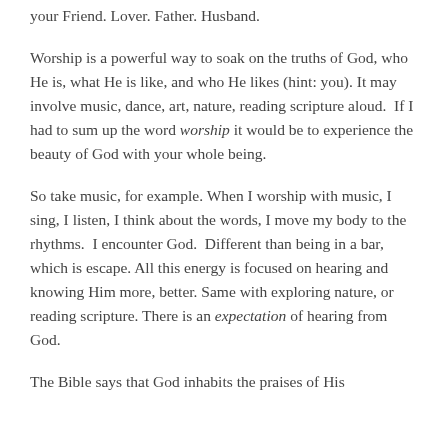your Friend. Lover. Father. Husband.
Worship is a powerful way to soak on the truths of God, who He is, what He is like, and who He likes (hint: you). It may involve music, dance, art, nature, reading scripture aloud.  If I had to sum up the word worship it would be to experience the beauty of God with your whole being.
So take music, for example. When I worship with music, I sing, I listen, I think about the words, I move my body to the rhythms.  I encounter God.  Different than being in a bar, which is escape. All this energy is focused on hearing and knowing Him more, better. Same with exploring nature, or  reading scripture. There is an expectation of hearing from God.
The Bible says that God inhabits the praises of His